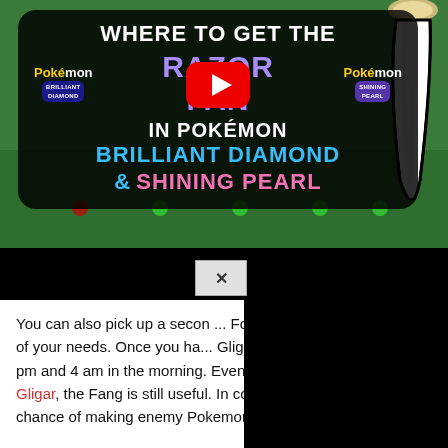[Figure (screenshot): YouTube video thumbnail for 'Where to Get the Razor Fang in Pokemon Brilliant Diamond & Shining Pearl'. Black rounded rectangle overlay with white, purple, cyan, and pink text. Pokemon Brilliant Diamond and Shining Pearl logos flank a large YouTube play button. Background shows green game environment with a large fang/claw item on the right.]
You can also pick up a seco... For five Battle Points, you c... of your needs. Once you ha... Gligar will only evolve at nig... pm and 4 am in the morning. Even if you don't want to evolve Gligar, the Fang is still useful. In combat, it can increase the chance of making enemy Pokemon flinch.